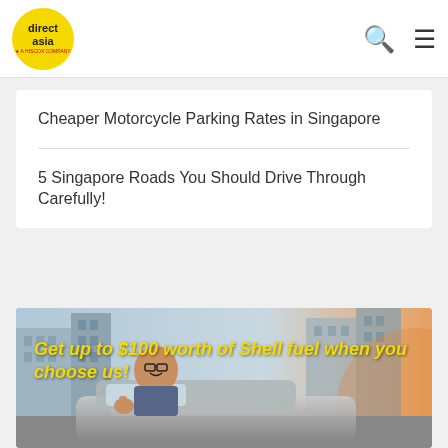direct asia — A HISCOX COMPANY
Cheaper Motorcycle Parking Rates in Singapore
5 Singapore Roads You Should Drive Through Carefully!
[Figure (photo): Advertisement banner showing a smiling man giving thumbs up from a car window, with text 'Get up to $100 worth of Shell fuel when you choose us!' in yellow bold text overlaid on a city background.]